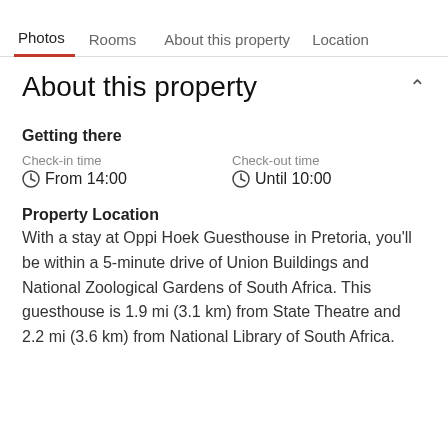Photos  Rooms  About this property  Location
About this property
Getting there
Check-in time
⊙ From 14:00
Check-out time
⊙ Until 10:00
Property Location
With a stay at Oppi Hoek Guesthouse in Pretoria, you'll be within a 5-minute drive of Union Buildings and National Zoological Gardens of South Africa. This guesthouse is 1.9 mi (3.1 km) from State Theatre and 2.2 mi (3.6 km) from National Library of South Africa.